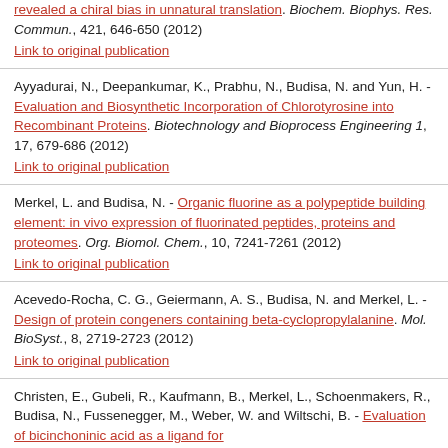revealed a chiral bias in unnatural translation. Biochem. Biophys. Res. Commun., 421, 646-650 (2012)
Link to original publication
Ayyadurai, N., Deepankumar, K., Prabhu, N., Budisa, N. and Yun, H. - Evaluation and Biosynthetic Incorporation of Chlorotyrosine into Recombinant Proteins. Biotechnology and Bioprocess Engineering 1, 17, 679-686 (2012)
Link to original publication
Merkel, L. and Budisa, N. - Organic fluorine as a polypeptide building element: in vivo expression of fluorinated peptides, proteins and proteomes. Org. Biomol. Chem., 10, 7241-7261 (2012)
Link to original publication
Acevedo-Rocha, C. G., Geiermann, A. S., Budisa, N. and Merkel, L. - Design of protein congeners containing beta-cyclopropylalanine. Mol. BioSyst., 8, 2719-2723 (2012)
Link to original publication
Christen, E., Gubeli, R., Kaufmann, B., Merkel, L., Schoenmakers, R., Budisa, N., Fussenegger, M., Weber, W. and Wiltschi, B. - Evaluation of bicinchoninic acid as a ligand for